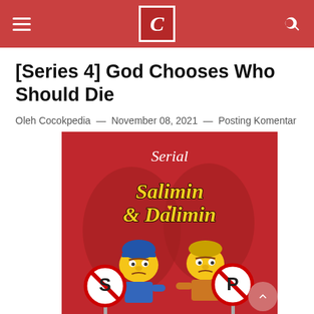Cocokpedia — navigation bar with hamburger menu, logo C, and search icon
[Series 4] God Chooses Who Should Die
Oleh Cocokpedia — November 08, 2021 — Posting Komentar
[Figure (illustration): Cover art for serial 'Salimin & Dalimin' — two cartoon characters (Simpsons-style) on a red background holding circular road signs marked S and P, with cursive text 'Serial' above and stylized text 'Salimin & Dalimin' in yellow.]